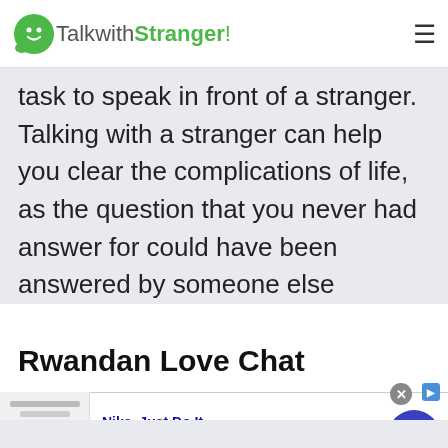TalkwithStranger!
task to speak in front of a stranger. Talking with a stranger can help you clear the complications of life, as the question that you never had answer for could have been answered by someone else already.
Rwandan Love Chat
[Figure (screenshot): Advertisement banner for Nike. Just Do It with image placeholder, close button, and navigation arrow. Text: 'Nike. Just Do It', 'Inspiring the world's athletes, Nike delivers the deals', 'www.nike.com']